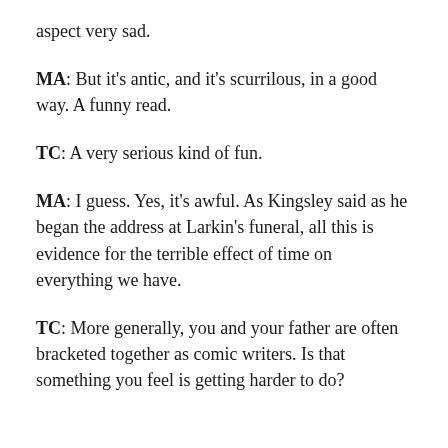aspect very sad.
MA: But it's antic, and it's scurrilous, in a good way. A funny read.
TC: A very serious kind of fun.
MA: I guess. Yes, it's awful. As Kingsley said as he began the address at Larkin's funeral, all this is evidence for the terrible effect of time on everything we have.
TC: More generally, you and your father are often bracketed together as comic writers. Is that something you feel is getting harder to do?